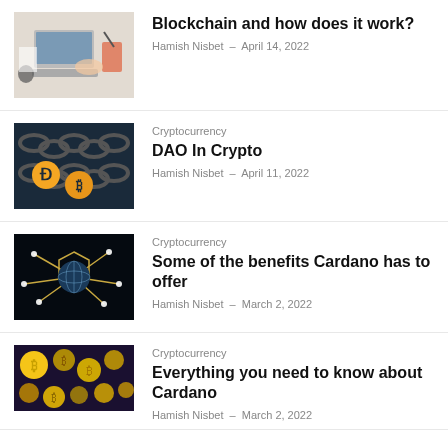[Figure (photo): Laptop and accessories on desk, top-down view]
Blockchain and how does it work?
Hamish Nisbet – April 14, 2022
Cryptocurrency
[Figure (photo): Cryptocurrency coins on chain background, dark blue]
DAO In Crypto
Hamish Nisbet – April 11, 2022
Cryptocurrency
[Figure (photo): Globe with circuit network connections on dark background]
Some of the benefits Cardano has to offer
Hamish Nisbet – March 2, 2022
Cryptocurrency
[Figure (photo): Various cryptocurrency coins including Bitcoin]
Everything you need to know about Cardano
Hamish Nisbet – March 2, 2022